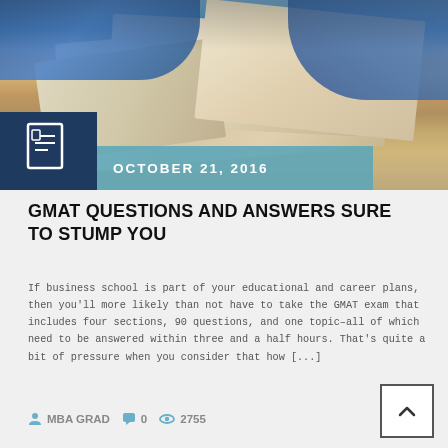[Figure (photo): Student studying with open books spread on a library table, wearing a blue sweater, viewed from above. Dark blue box in bottom-left with document icon. Teal banner overlay with date.]
OCTOBER 21, 2016
GMAT QUESTIONS AND ANSWERS SURE TO STUMP YOU
If business school is part of your educational and career plans, then you’ll more likely than not have to take the GMAT exam that includes four sections, 90 questions, and one topic–all of which need to be answered within three and a half hours. That’s quite a bit of pressure when you consider that how [...]
MBA GRAD   0   2755